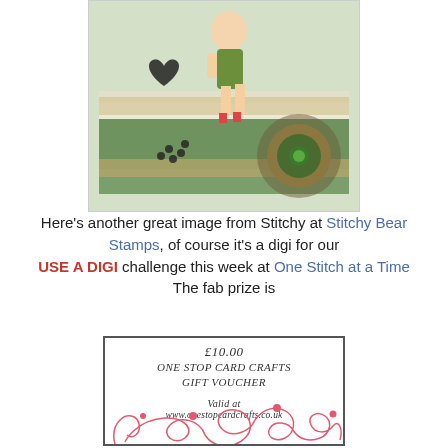[Figure (photo): A handmade craft card featuring a vintage pin-up style figure in a green dress, with lace, decorative paper layers, pearls, and a large green and brown paper flower.]
Here's another great image from Stitchy at Stitchy Bear Stamps, of course it's a digi for our USE A DIGI challenge this week at One Stitch at a Time The fab prize is
[Figure (other): A gift voucher for One Stop Card Crafts worth £10.00, valid at www.onestopcardcrafts.co.uk, decorated with pink swirl floral ornaments at the bottom.]